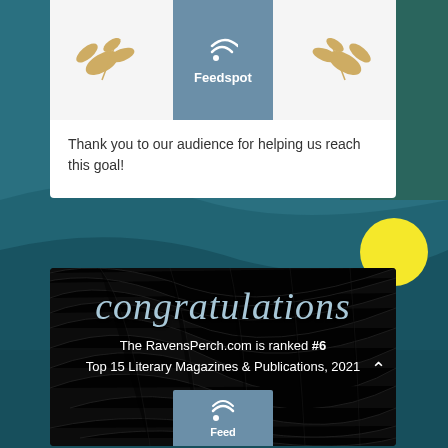[Figure (illustration): Top card with two gold leaf branch icons flanking a Feedspot logo in a blue-gray box]
Thank you to our audience for helping us reach this goal!
[Figure (illustration): Dark card with feather/raven feather texture background, cursive 'congratulations' in blue-gray, text stating The RavensPerch.com is ranked #6 Top 15 Literary Magazines & Publications, 2021, and partial Feedspot logo at bottom]
The RavensPerch.com is ranked #6
Top 15 Literary Magazines & Publications, 2021